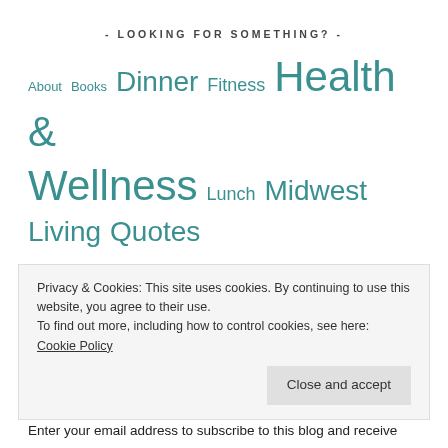- LOOKING FOR SOMETHING? -
About  Books  Dinner  Fitness  Health & Wellness  Lunch  Midwest Living  Quotes  Recipes  Restaurants  Toddler food
- SUBSCRIBE TO BLOG VIA EMAIL -
Enter your email address to subscribe to this blog and receive
Privacy & Cookies: This site uses cookies. By continuing to use this website, you agree to their use.
To find out more, including how to control cookies, see here: Cookie Policy
Close and accept